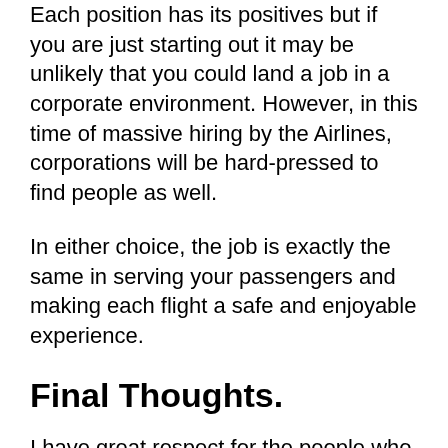Each position has its positives but if you are just starting out it may be unlikely that you could land a job in a corporate environment. However, in this time of massive hiring by the Airlines, corporations will be hard-pressed to find people as well.
In either choice, the job is exactly the same in serving your passengers and making each flight a safe and enjoyable experience.
Final Thoughts.
I have great respect for the people who choose to be in service as Cabin crew members because their job requires lots of patience and they must be prepared for any situation. An unruly person on board must be